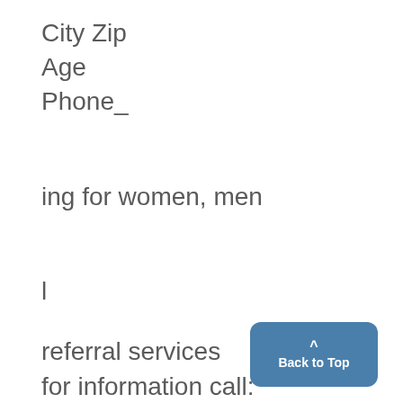City Zip
Age
Phone_
ing for women, men
l
referral services
for information call:
764-8329
763-4370 or
763-4371
[Figure (other): Back to Top button — blue rounded rectangle with upward arrow and 'Back to Top' label]